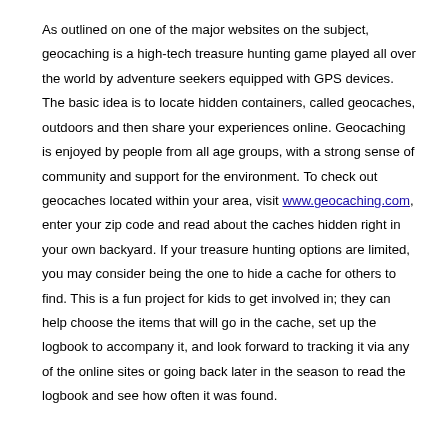As outlined on one of the major websites on the subject, geocaching is a high-tech treasure hunting game played all over the world by adventure seekers equipped with GPS devices. The basic idea is to locate hidden containers, called geocaches, outdoors and then share your experiences online. Geocaching is enjoyed by people from all age groups, with a strong sense of community and support for the environment. To check out geocaches located within your area, visit www.geocaching.com, enter your zip code and read about the caches hidden right in your own backyard. If your treasure hunting options are limited, you may consider being the one to hide a cache for others to find. This is a fun project for kids to get involved in; they can help choose the items that will go in the cache, set up the logbook to accompany it, and look forward to tracking it via any of the online sites or going back later in the season to read the logbook and see how often it was found.